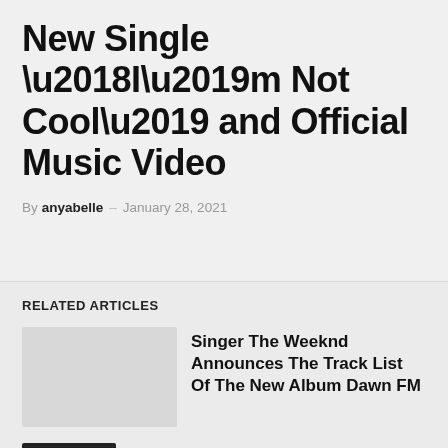New Single ‘I’m Not Cool’ and Official Music Video
By anyabelle – January 28, 2021
RELATED ARTICLES
Singer The Weeknd Announces The Track List Of The New Album Dawn FM
English Music
Your New K-pop Destination Enhypen Reveal Album Preview For 1st Studio Repackage Album